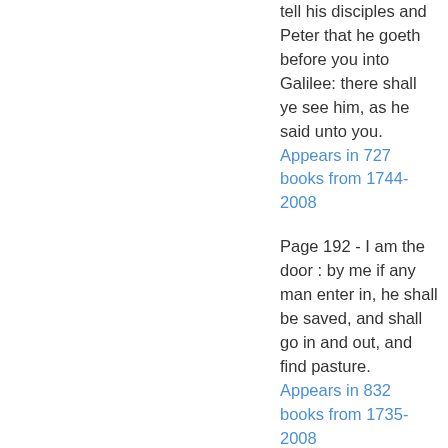tell his disciples and Peter that he goeth before you into Galilee: there shall ye see him, as he said unto you. Appears in 727 books from 1744-2008
Page 192 - I am the door : by me if any man enter in, he shall be saved, and shall go in and out, and find pasture. Appears in 832 books from 1735-2008
Page 109 - Pilate therefore went forth again, and saith unto them, Behold, I bring him forth to you, that ye may know that I find no fault in him.